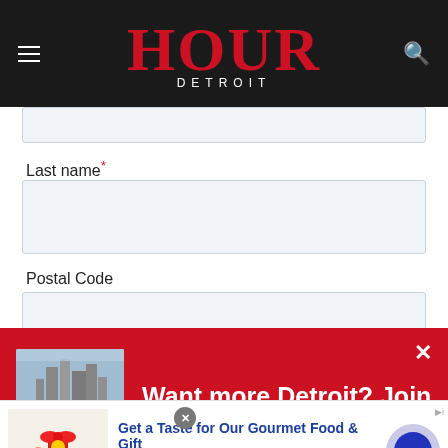HOUR DETROIT
Last name*
Postal Code
[Figure (screenshot): Newsletter signup popup with red background, aerial city photo, and text: Want more Detroit? Join our newsletter list!]
[Figure (screenshot): Advertisement banner: Get a Taste for Our Gourmet Food & Gift. Chocolate Gifts - Fruit Baskets - Baked Goods. www.1800flowers.com]